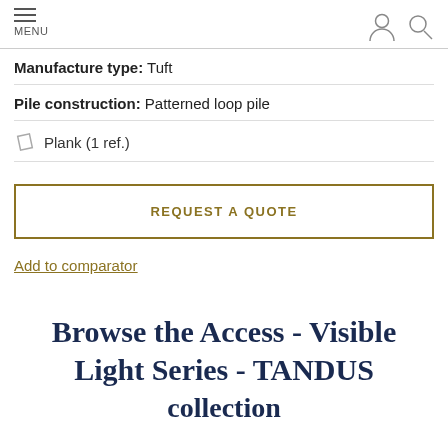MENU
Manufacture type: Tuft
Pile construction: Patterned loop pile
Plank (1 ref.)
REQUEST A QUOTE
Add to comparator
Browse the Access - Visible Light Series - TANDUS collection